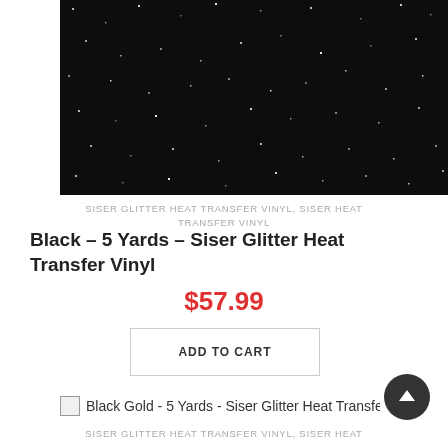[Figure (photo): Close-up photo of black glitter heat transfer vinyl material — dark background with scattered shiny glitter particles visible]
SISER GLITTER HEAT TRANSFER VINYL, SISER HEAT TRANSFER VINYL
Black – 5 Yards – Siser Glitter Heat Transfer Vinyl
$57.99
ADD TO CART
[Figure (photo): Broken image icon for Black Gold - 5 Yards - Siser Glitter Heat Transfer Vinyl product thumbnail]
SISER GLITTER HEAT TRANSFER VINYL, SISER HEAT